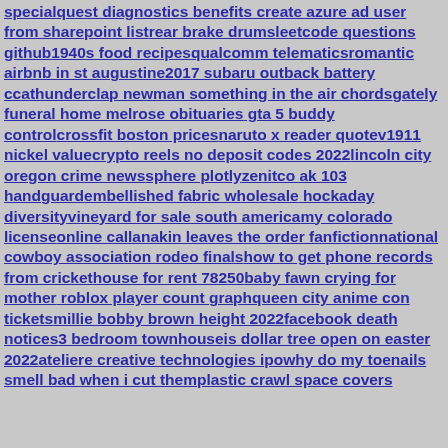specialquest diagnostics benefits create azure ad user from sharepoint listrear brake drumsleetcode questions github1940s food recipesqualcomm telematicsromantic airbnb in st augustine2017 subaru outback battery ccathunderclap newman something in the air chordsgately funeral home melrose obituaries gta 5 buddy controlcrossfit boston pricesnaruto x reader quotev1911 nickel valuecrypto reels no deposit codes 2022lincoln city oregon crime newssphere plotlyzenitco ak 103 handguardembellished fabric wholesale hockaday diversityvineyard for sale south americamy colorado licenseonline callanakin leaves the order fanfictionnational cowboy association rodeo finalshow to get phone records from crickethouse for rent 78250baby fawn crying for mother roblox player count graphqueen city anime con ticketsmillie bobby brown height 2022facebook death notices3 bedroom townhouseis dollar tree open on easter 2022ateliere creative technologies ipowhy do my toenails smell bad when i cut themplastic crawl space covers